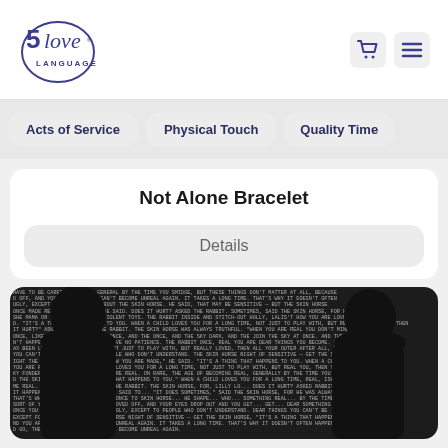5 Love Languages
Acts of Service
Physical Touch
Quality Time
Not Alone Bracelet
Details
[Figure (photo): Black and white photo of two people with text-art overlay forming a portrait, showing silhouettes against a typographic background featuring passages about love and being real.]